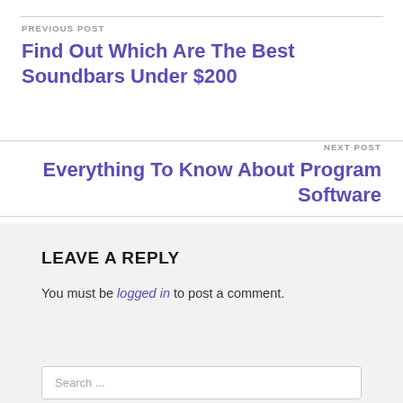PREVIOUS POST
Find Out Which Are The Best Soundbars Under $200
NEXT POST
Everything To Know About Program Software
LEAVE A REPLY
You must be logged in to post a comment.
Search ...